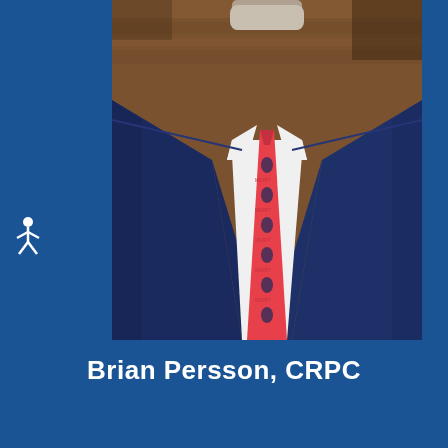[Figure (photo): Professional headshot of Brian Persson, a middle-aged man with gray beard wearing a dark navy blue suit jacket, white dress shirt, and a pink/red patterned tie with small blue emblems, photographed against a wooden background. Only the torso and lower face/beard are visible — the image is cropped at the shoulders and above.]
Brian Persson, CRPC